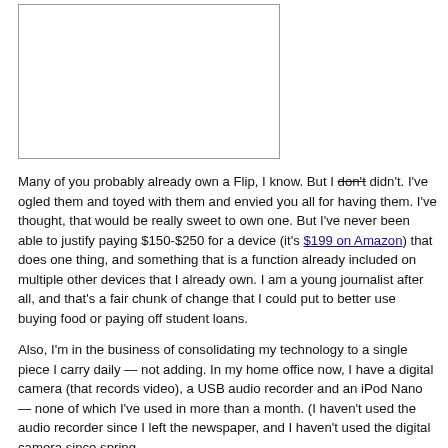[Figure (other): A rectangular image placeholder with a thin border, likely a photo of a Flip camera or related device.]
Many of you probably already own a Flip, I know. But I don't didn't. I've ogled them and toyed with them and envied you all for having them. I've thought, that would be really sweet to own one. But I've never been able to justify paying $150-$250 for a device (it's $199 on Amazon) that does one thing, and something that is a function already included on multiple other devices that I already own. I am a young journalist after all, and that's a fair chunk of change that I could put to better use buying food or paying off student loans.
Also, I'm in the business of consolidating my technology to a single piece I carry daily — not adding. In my home office now, I have a digital camera (that records video), a USB audio recorder and an iPod Nano — none of which I've used in more than a month. (I haven't used the audio recorder since I left the newspaper, and I haven't used the digital camera since spring,